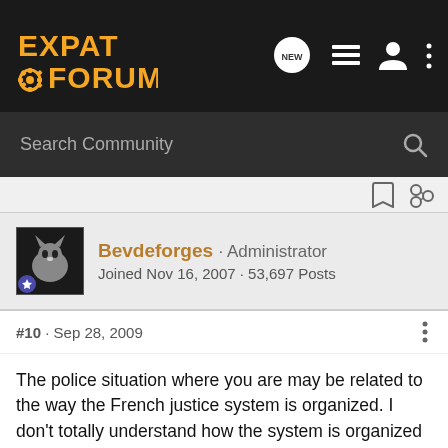[Figure (logo): Expat Forum logo with gear icon in orange on dark background]
Search Community
Bevdeforges · Administrator
Joined Nov 16, 2007 · 53,697 Posts
#10 · Sep 28, 2009
The police situation where you are may be related to the way the French justice system is organized. I don't totally understand how the system is organized in France, but there are a couple factors that seem significant:
The gendarmes are actually organized at the national level, not at the local level. The local officials (i.e. at the mairie) don't have much (if any) influence over the gendarmes. Some towns have a city or municipal police, but (at least according to my...